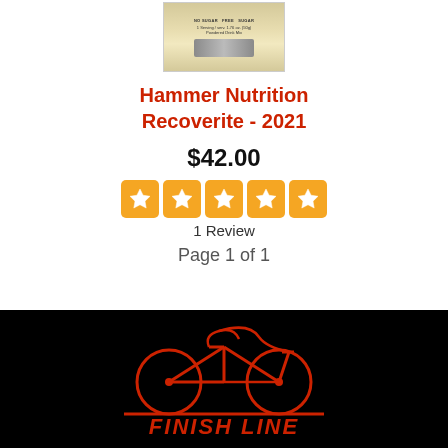[Figure (photo): Product image of Hammer Nutrition Recoverite supplement package]
Hammer Nutrition Recoverite - 2021
$42.00
[Figure (other): 5-star rating display — five orange star boxes]
1 Review
Page 1 of 1
[Figure (logo): Finish Line bicycle shop logo — red bicycle illustration above red italic FINISH LINE text on black background]